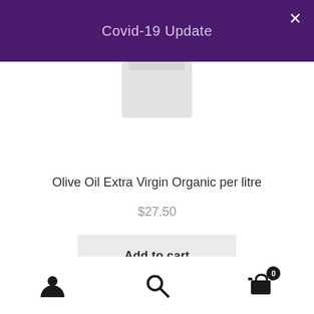Covid-19 Update
[Figure (photo): Partial view of a white bottle/container product image, cropped at top]
Olive Oil Extra Virgin Organic per litre
$27.50
Add to cart
Bottom navigation bar with user account icon, search icon, and shopping cart icon with badge showing 0